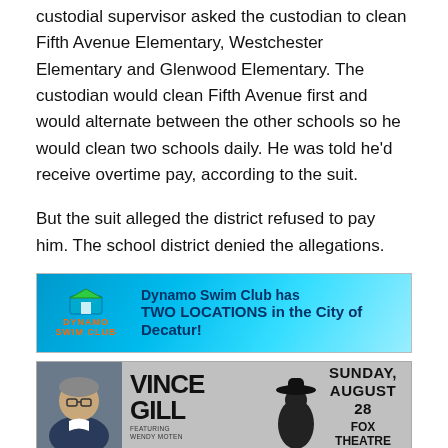custodial supervisor asked the custodian to clean Fifth Avenue Elementary, Westchester Elementary and Glenwood Elementary. The custodian would clean Fifth Avenue first and would alternate between the other schools so he would clean two schools daily. He was told he'd receive overtime pay, according to the suit.
But the suit alleged the district refused to pay him. The school district denied the allegations.
[Figure (infographic): Dynamo Swim Club advertisement banner. Blue background with lightning bolt texture. Logo on left with orange DYNAMO SWIM CLUB text and green/yellow house icon. Text reads: Dynamo Swim Club has TWO LOCATIONS in the City of Decatur!]
[Figure (infographic): Vince Gill concert advertisement. Gray background. Photo of Vince Gill on left. Text: VINCE GILL, FEATURING WENDY MOTEN. Silhouette of figure in hat center. Right side: SUNDAY, AUGUST 28, FOX THEATRE.]
Here are the remaining lawsuits against the district: